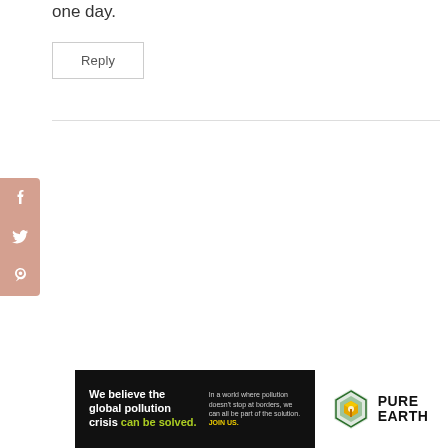one day.
Reply
[Figure (other): Social media share sidebar with Facebook, Twitter, and Pinterest icons on a dusty rose/salmon background]
[Figure (other): Pure Earth advertisement banner: black background left side reads 'We believe the global pollution crisis can be solved.' with body text 'In a world where pollution doesn't stop at borders, we can all be part of the solution. JOIN US.' Right side is white with Pure Earth logo (diamond/layered shape icon) and PURE EARTH text.]